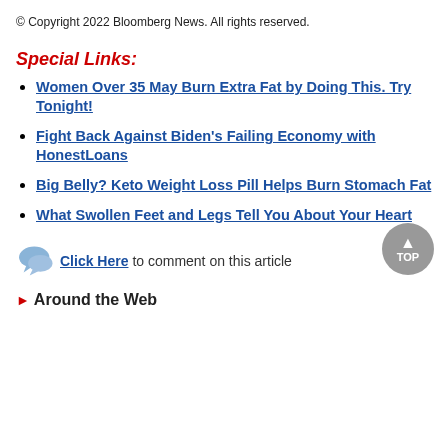© Copyright 2022 Bloomberg News. All rights reserved.
Special Links:
Women Over 35 May Burn Extra Fat by Doing This. Try Tonight!
Fight Back Against Biden's Failing Economy with HonestLoans
Big Belly? Keto Weight Loss Pill Helps Burn Stomach Fat
What Swollen Feet and Legs Tell You About Your Heart
Click Here to comment on this article
Around the Web